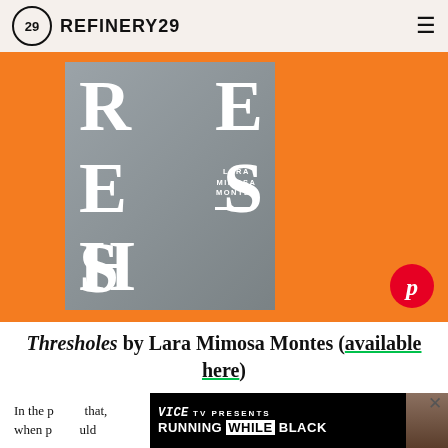REFINERY29
[Figure (photo): Book cover for Thresholes by Lara Mimosa Montes on orange background with large white serif letters spelling RESH and ESH visible on a gray book cover, with author name text and a Pinterest button overlay]
Thresholes by Lara Mimosa Montes (available here)
In the p... that, when p... uld
[Figure (screenshot): Ad banner: VICE TV PRESENTS RUNNING WHILE BLACK with a photo of a person]